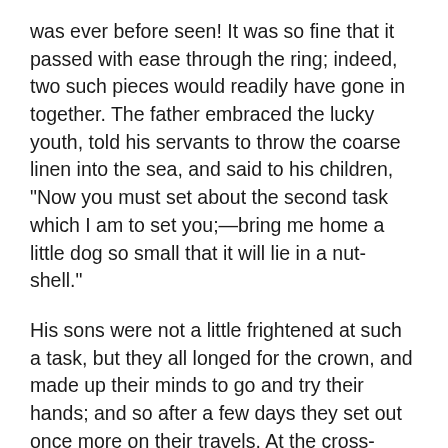was ever before seen! It was so fine that it passed with ease through the ring; indeed, two such pieces would readily have gone in together. The father embraced the lucky youth, told his servants to throw the coarse linen into the sea, and said to his children, "Now you must set about the second task which I am to set you;—bring me home a little dog so small that it will lie in a nut-shell."
His sons were not a little frightened at such a task, but they all longed for the crown, and made up their minds to go and try their hands; and so after a few days they set out once more on their travels. At the cross-ways they parted as before; and the youngest chose his old dreary rugged road, with all the bright hopes that his former good luck gave him. Scarcely had he sat himself down again at the bridge foot when his old friend the frog jumped out, set itself beside him, and as before opened its big wide